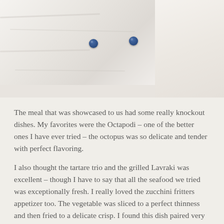[Figure (photo): Close-up photo of a white fabric shirt or garment with two dark navy/blue buttons visible, showing fabric folds and texture. Right side shows a lighter, slightly blurred area.]
The meal that was showcased to us had some really knockout dishes. My favorites were the Octapodi – one of the better ones I have ever tried – the octopus was so delicate and tender with perfect flavoring.
I also thought the tartare trio and the grilled Lavraki was excellent – though I have to say that all the seafood we tried was exceptionally fresh. I really loved the zucchini fritters appetizer too. The vegetable was sliced to a perfect thinness and then fried to a delicate crisp. I found this dish paired very well with a nice Greek wine.